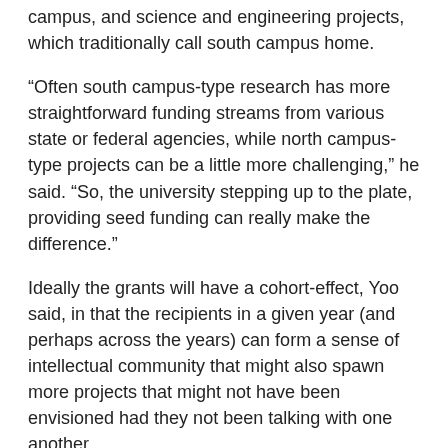campus, and science and engineering projects, which traditionally call south campus home.
“Often south campus-type research has more straightforward funding streams from various state or federal agencies, while north campus-type projects can be a little more challenging,” he said. “So, the university stepping up to the plate, providing seed funding can really make the difference.”
Ideally the grants will have a cohort-effect, Yoo said, in that the recipients in a given year (and perhaps across the years) can form a sense of intellectual community that might also spawn more projects that might not have been envisioned had they not been talking with one another.
“COVID threw a wrench into these plans, but the hope is that we move on this dimension in the coming rounds,” he said.